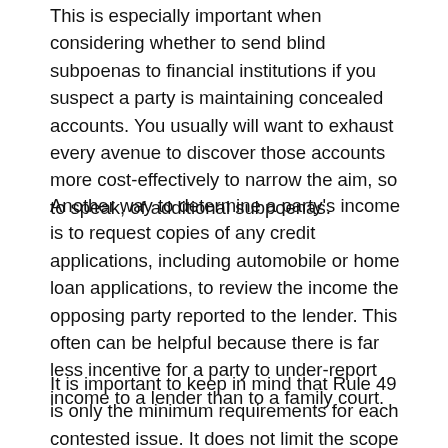This is especially important when considering whether to send blind subpoenas to financial institutions if you suspect a party is maintaining concealed accounts. You usually will want to exhaust every avenue to discover those accounts more cost-effectively to narrow the aim, so to speak, of additional subpoenas.
Another way to determine a party's income is to request copies of any credit applications, including automobile or home loan applications, to review the income the opposing party reported to the lender. This often can be helpful because there is far less incentive for a party to under-report income to a lender than to a family court.
It is important to keep in mind that Rule 49 is only the minimum requirements for each contested issue. It does not limit the scope of discovery requests. Consider child